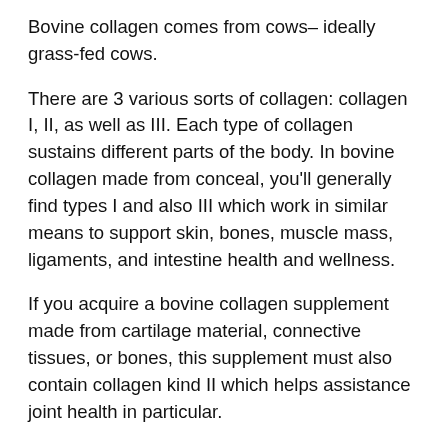Bovine collagen comes from cows– ideally grass-fed cows.
There are 3 various sorts of collagen: collagen I, II, as well as III. Each type of collagen sustains different parts of the body. In bovine collagen made from conceal, you'll generally find types I and also III which work in similar means to support skin, bones, muscle mass, ligaments, and intestine health and wellness.
If you acquire a bovine collagen supplement made from cartilage material, connective tissues, or bones, this supplement must also contain collagen kind II which helps assistance joint health in particular.